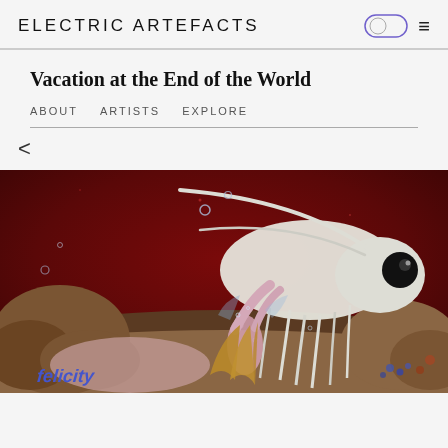ELECTRIC ARTEFACTS
Vacation at the End of the World
ABOUT   ARTISTS   EXPLORE
<
[Figure (photo): Digital artwork showing a surreal underwater-like scene with a large white shrimp/crustacean creature with a black eye and long antennae, a blonde female figure reaching up toward the creature, set against a deep red background with bubbles. Brown rocky formations visible on the sides. Text 'felicity' visible in blue at the bottom left.]